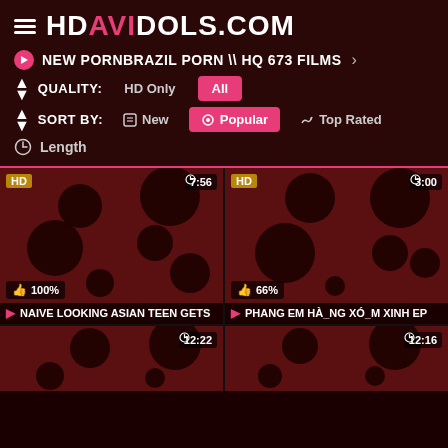HDAVIDOLS.COM
NEW PORNBRAZIL PORN \\ HQ 673 FILMS >
QUALITY: HD Only  All
SORT BY: New  Popular  Top Rated
Length
[Figure (screenshot): Video thumbnail 1 with HD badge, duration 7:56, rating 100%, title: NAIVE LOOKING ASIAN TEEN GETS]
[Figure (screenshot): Video thumbnail 2 with HD badge, duration 3:00, rating 66%, title: PHANG EM HA_NG XO_M XINH EP]
[Figure (screenshot): Video thumbnail 3, duration 12:22, partial view]
[Figure (screenshot): Video thumbnail 4, duration 12:16, partial view]